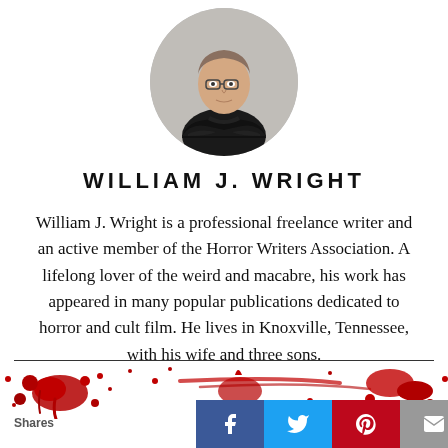[Figure (photo): Circular profile photo of William J. Wright, a man in a black leather jacket with arms crossed, wearing glasses, against a light gray background.]
WILLIAM J. WRIGHT
William J. Wright is a professional freelance writer and an active member of the Horror Writers Association. A lifelong lover of the weird and macabre, his work has appeared in many popular publications dedicated to horror and cult film. He lives in Knoxville, Tennessee, with his wife and three sons.
[Figure (illustration): Red blood splatter decorative element spanning the bottom portion of the page above the social sharing bar.]
Shares